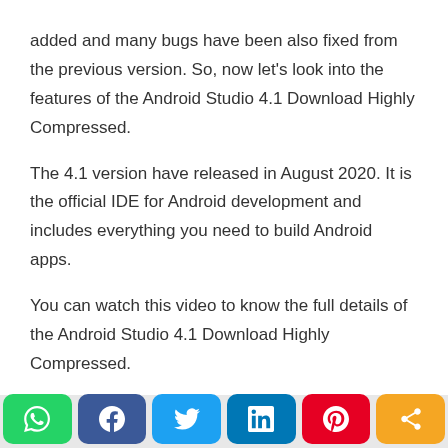added and many bugs have been also fixed from the previous version. So, now let's look into the features of the Android Studio 4.1 Download Highly Compressed.
The 4.1 version have released in August 2020. It is the official IDE for Android development and includes everything you need to build Android apps.
You can watch this video to know the full details of the Android Studio 4.1 Download Highly Compressed.
[Figure (infographic): Social sharing buttons bar: WhatsApp (green), Facebook (dark blue), Twitter (light blue), LinkedIn (teal blue), Pinterest (red), Share (orange)]